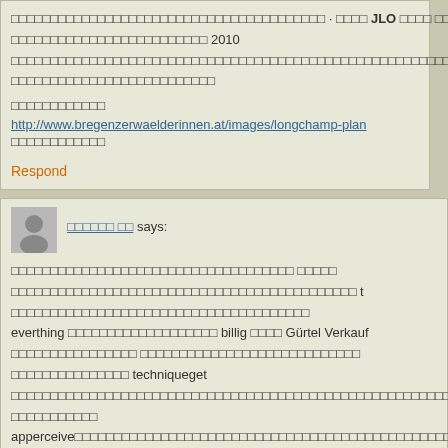□□□□□□□□□□□□□□□□□□□□□□□□□□□□□□□□□□□□□□□□ · □□□□ JLO □□□□ □□□□□□□□□□ □ □□□□□□□□□ · □□□□□□□□□□□□□□□□□□□□□□□□□ 2010 □□□□□□□□□□□□□□□□□□□□□□□□□□□□□□□□□□□□□□□□□□□□□□□□□□□□□□□□□□□□□□□□□□□□□□□□□□□□□□□□□□□□□□□□ □□□□□□□□□□□□□□□□□□□□□□□□□□
□□□□□□□□□□□□ http://www.bregenzerwaelderinnen.at/images/longchamp-plan... □□□□□□□□□□□□
Respond
□□□□□□ □□ says:
□□□□□□□□□□□□□□□□□□□□□□□□□□□□□□□□□□□□ □□□□□ □□□□□□□□□□□□□□□□□□□□□□□□□□□□□□□□□□□□□□□□□□□□ t □□□□□□□□□□□□□□□□□□□□ everthing □□□□□□□□□□□□□□□□□□□ billig □□□□ Gürtel Verkauf □□□□□□□□□□□□□□□□ □□□□□□□□□□□□□□□□□□□□□□ techniqueget □□□□□□□□□□□□□□□□□□□□□□□□□□□□□□□□□□□□□□□□□□□□□□□□□□□□□□□□□□□□□□□□□□□□□□□□□□□□□□ □□□□□□□□□□□ apperceive□□□□□□□□□□□□□□□□□□□□□□□□□□□□□□□□□□□□□□□□□□□□□□□□□□□□□□□□□□□□□□□□□□□□□□□□□□□□□□□□□□□□□ □□□□□□□□□□□□□□□□□□□□□□□□□□□□□□□□□□□□□□□□□□□□□□□□□□□□□□□□□□□□□□□□□□□□□□□□□□□□□□□□□□□□□□□□ □□□□□ □□ http://www.psdekor.at/images/ferragamo-bags-c-5106.html □□□□□ □□
Respond